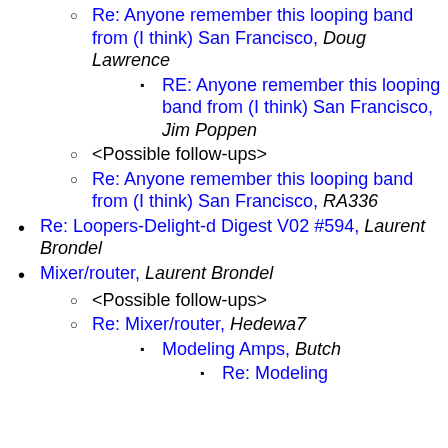Re: Anyone remember this looping band from (I think) San Francisco, Doug Lawrence
RE: Anyone remember this looping band from (I think) San Francisco, Jim Poppen
<Possible follow-ups>
Re: Anyone remember this looping band from (I think) San Francisco, RA336
Re: Loopers-Delight-d Digest V02 #594, Laurent Brondel
Mixer/router, Laurent Brondel
<Possible follow-ups>
Re: Mixer/router, Hedewa7
Modeling Amps, Butch
Re: Modeling